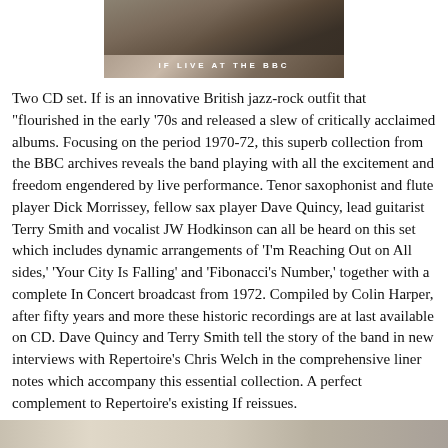[Figure (photo): Album cover image for 'If Live at the BBC' showing a tan/beige background with text 'IF LIVE AT THE BBC' in white uppercase letters and what appears to be a dark photographic image above]
Two CD set. If is an innovative British jazz-rock outfit that "flourished in the early '70s and released a slew of critically acclaimed albums. Focusing on the period 1970-72, this superb collection from the BBC archives reveals the band playing with all the excitement and freedom engendered by live performance. Tenor saxophonist and flute player Dick Morrissey, fellow sax player Dave Quincy, lead guitarist Terry Smith and vocalist JW Hodkinson can all be heard on this set which includes dynamic arrangements of 'I'm Reaching Out on All sides,' 'Your City Is Falling' and 'Fibonacci's Number,' together with a complete In Concert broadcast from 1972. Compiled by Colin Harper, after fifty years and more these historic recordings are at last available on CD. Dave Quincy and Terry Smith tell the story of the band in new interviews with Repertoire's Chris Welch in the comprehensive liner notes which accompany this essential collection. A perfect complement to Repertoire's existing If reissues.
[Figure (photo): Partial bottom strip of a black and white photograph showing people]